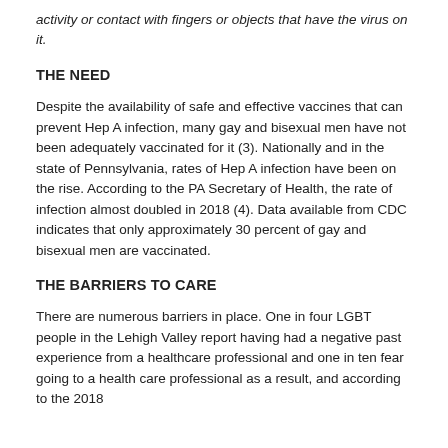activity or contact with fingers or objects that have the virus on it.
THE NEED
Despite the availability of safe and effective vaccines that can prevent Hep A infection, many gay and bisexual men have not been adequately vaccinated for it (3). Nationally and in the state of Pennsylvania, rates of Hep A infection have been on the rise. According to the PA Secretary of Health, the rate of infection almost doubled in 2018 (4). Data available from CDC indicates that only approximately 30 percent of gay and bisexual men are vaccinated.
THE BARRIERS TO CARE
There are numerous barriers in place. One in four LGBT people in the Lehigh Valley report having had a negative past experience from a healthcare professional and one in ten fear going to a health care professional as a result, and according to the 2018